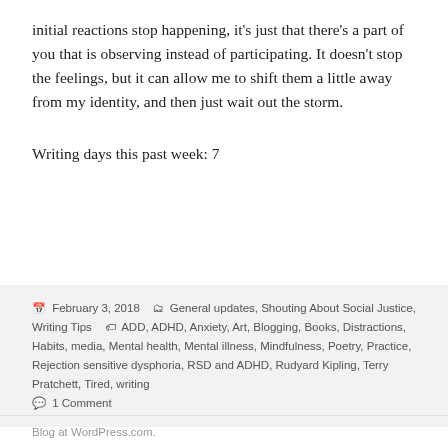initial reactions stop happening, it's just that there's a part of you that is observing instead of participating. It doesn't stop the feelings, but it can allow me to shift them a little away from my identity, and then just wait out the storm.
Writing days this past week: 7
February 3, 2018   General updates, Shouting About Social Justice, Writing Tips   ADD, ADHD, Anxiety, Art, Blogging, Books, Distractions, Habits, media, Mental health, Mental illness, Mindfulness, Poetry, Practice, Rejection sensitive dysphoria, RSD and ADHD, Rudyard Kipling, Terry Pratchett, Tired, writing   1 Comment
Blog at WordPress.com.